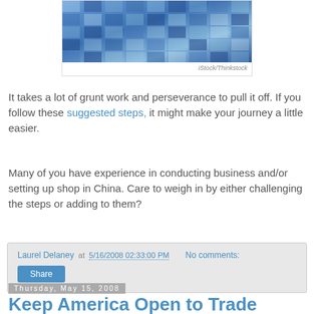[Figure (photo): Photo of glass office building facade with blue reflective windows, credit: iStock/Thinkstock]
iStock/Thinkstock
It takes a lot of grunt work and perseverance to pull it off. If you follow these suggested steps, it might make your journey a little easier.
Many of you have experience in conducting business and/or setting up shop in China. Care to weigh in by either challenging the steps or adding to them?
Laurel Delaney at 5/16/2008 02:33:00 PM    No comments:
Share
Thursday, May 15, 2008
Keep America Open to Trade